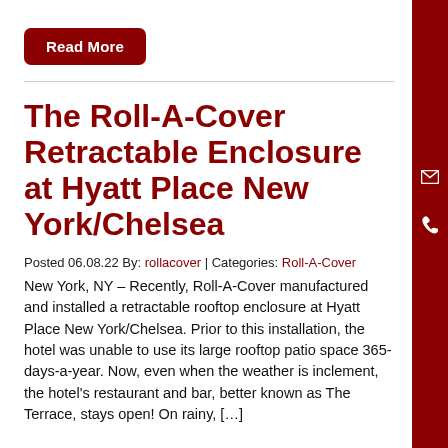Read More
The Roll-A-Cover Retractable Enclosure at Hyatt Place New York/Chelsea
Posted 06.08.22 By: rollacover | Categories: Roll-A-Cover
New York, NY – Recently, Roll-A-Cover manufactured and installed a retractable rooftop enclosure at Hyatt Place New York/Chelsea. Prior to this installation, the hotel was unable to use its large rooftop patio space 365-days-a-year. Now, even when the weather is inclement, the hotel's restaurant and bar, better known as The Terrace, stays open! On rainy, […]
Read More